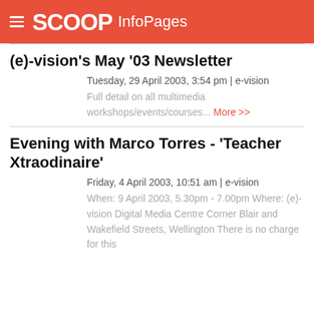SCOOP InfoPages
(e)-vision's May '03 Newsletter
Tuesday, 29 April 2003, 3:54 pm | e-vision
Full detail on all multimedia workshops/events/courses... More >>
Evening with Marco Torres - 'Teacher Xtraodinaire'
Friday, 4 April 2003, 10:51 am | e-vision
When: 9 April 2003, 5.30pm - 7.00pm Where: (e)-vision Digital Media Centre Corner Blair and Wakefield Streets, Wellington There is no charge for this